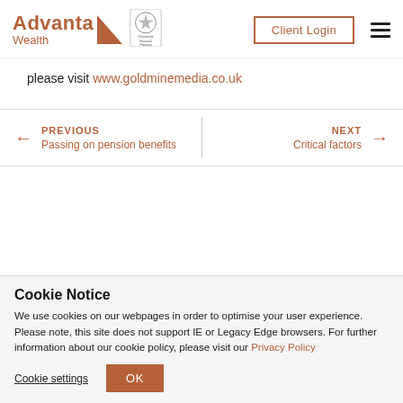Advanta Wealth | Client Login
please visit www.goldminemedia.co.uk
PREVIOUS Passing on pension benefits | NEXT Critical factors
Cookie Notice
We use cookies on our webpages in order to optimise your user experience. Please note, this site does not support IE or Legacy Edge browsers. For further information about our cookie policy, please visit our Privacy Policy
Cookie settings | OK